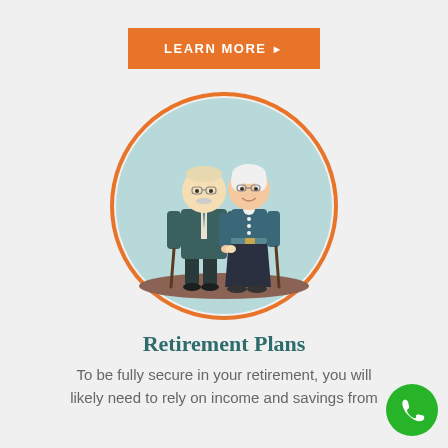LEARN MORE ▶
[Figure (illustration): Circular illustration with orange border showing an elderly couple (man in teal suit with cane and woman in teal dress with cane) standing together on a brown ground, light blue background inside circle.]
Retirement Plans
To be fully secure in your retirement, you will likely need to rely on income and savings from